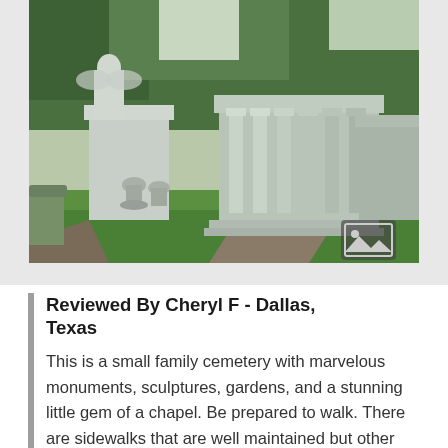[Figure (photo): Photograph of a cemetery with white marble mausoleums, columns, and angel sculptures surrounded by green trees and grass. A decorative image icon is visible in the bottom right corner of the photo.]
Reviewed By Cheryl F - Dallas, Texas
This is a small family cemetery with marvelous monuments, sculptures, gardens, and a stunning little gem of a chapel. Be prepared to walk. There are sidewalks that are well maintained but other than the driveway up to the chapel, this is not a driving cemetery. Spring and summer are